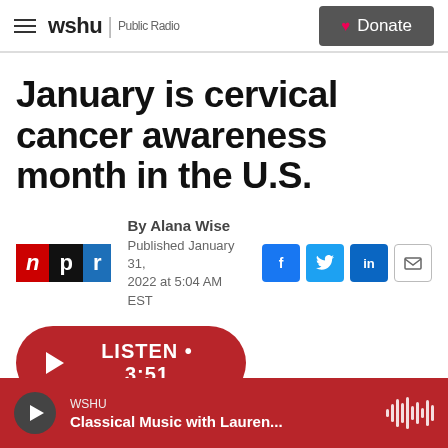wshu | Public Radio — Donate
January is cervical cancer awareness month in the U.S.
By Alana Wise
Published January 31, 2022 at 5:04 AM EST
LISTEN • 3:51
WSHU
Classical Music with Lauren...